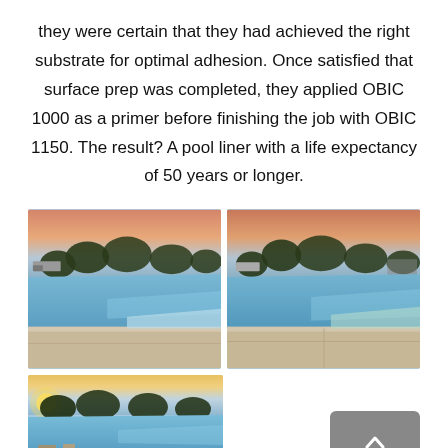they were certain that they had achieved the right substrate for optimal adhesion. Once satisfied that surface prep was completed, they applied OBIC 1000 as a primer before finishing the job with OBIC 1150. The result? A pool liner with a life expectancy of 50 years or longer.
[Figure (photo): Photo of a blue swimming pool at dusk with trees and a truck in the background, showing the pool surface coated with a blue liner. Left photo of pair.]
[Figure (photo): Photo of same blue swimming pool at dusk from a slightly different angle. Right photo of pair.]
[Figure (photo): Third photo of the blue swimming pool at dusk/sunrise, lower left position.]